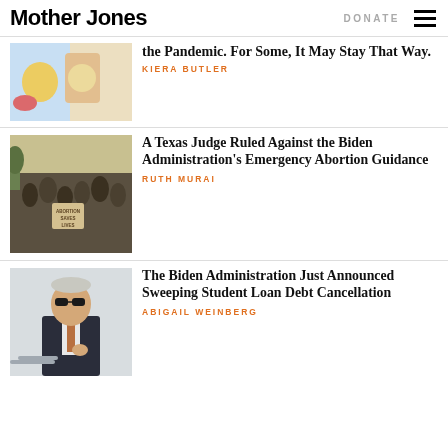Mother Jones | DONATE
[Figure (photo): Colorful mural or cartoon illustration with animated characters]
the Pandemic. For Some, It May Stay That Way.
KIERA BUTLER
[Figure (photo): Crowd of protesters at an outdoor rally, one person holding a sign reading ABORTION SAVES LIVES]
A Texas Judge Ruled Against the Biden Administration's Emergency Abortion Guidance
RUTH MURAI
[Figure (photo): President Biden in dark suit and sunglasses, standing near stairs]
The Biden Administration Just Announced Sweeping Student Loan Debt Cancellation
ABIGAIL WEINBERG